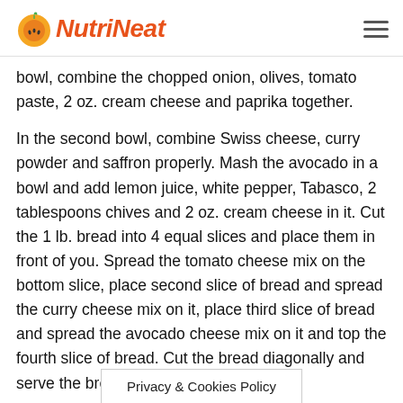NutriNeat
bowl, combine the chopped onion, olives, tomato paste, 2 oz. cream cheese and paprika together.
In the second bowl, combine Swiss cheese, curry powder and saffron properly. Mash the avocado in a bowl and add lemon juice, white pepper, Tabasco, 2 tablespoons chives and 2 oz. cream cheese in it. Cut the 1 lb. bread into 4 equal slices and place them in front of you. Spread the tomato cheese mix on the bottom slice, place second slice of bread and spread the curry cheese mix on it, place third slice of bread and spread the avocado cheese mix on it and top the fourth slice of bread. Cut the bread diagonally and serve the bread.
Privacy & Cookies Policy